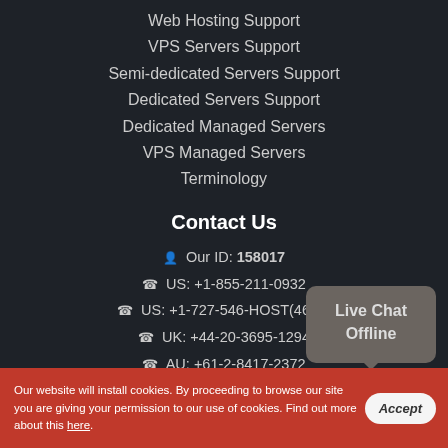Web Hosting Support
VPS Servers Support
Semi-dedicated Servers Support
Dedicated Servers Support
Dedicated Managed Servers
VPS Managed Servers
Terminology
Contact Us
Our ID: 158017
US: +1-855-211-0932
US: +1-727-546-HOST(4678)
UK: +44-20-3695-1294
AU: +61-2-8417-2372
[Figure (other): Live Chat Offline button/widget]
Our website will install cookies. By proceeding to browse our site you are giving your permission to our use of cookies. Find out more about this here.